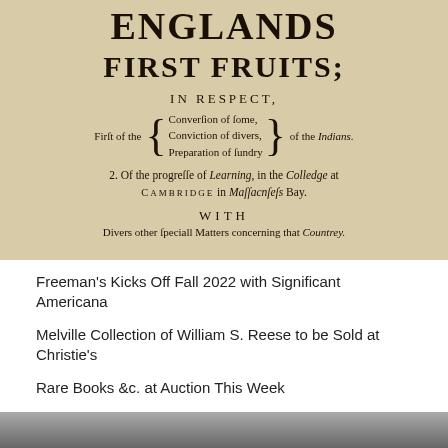[Figure (photo): Scan of an old book title page showing 'ENGLANDS FIRST FRUITS; IN RESPECT, First of the {Conversion of some, Conviction of divers, Preparation of sundry} of the Indians. 2. Of the progresse of Learning, in the Colledge at CAMBRIDGE in Massachusets Bay. WITH Divers other speciall Matters concerning that Countrey.']
Freeman's Kicks Off Fall 2022 with Significant Americana
Melville Collection of William S. Reese to be Sold at Christie's
Rare Books &c. at Auction This Week
BOOK ARTS
[Figure (photo): Partial bottom image, appears to be another book or object, mostly cropped.]